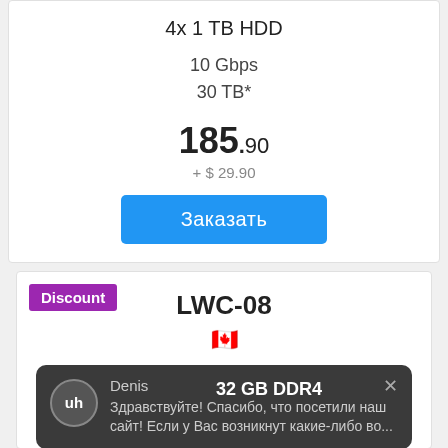4x 1 TB HDD
10 Gbps
30 TB*
185.90
+ $ 29.90
Заказать
Discount
LWC-08
AMD EPYC 7313P
16 cores / 3.0 GHz
32 GB DDR4
Denis
Здравствуйте! Спасибо, что посетили наш сайт! Если у Вас возникнут какие-либо во...